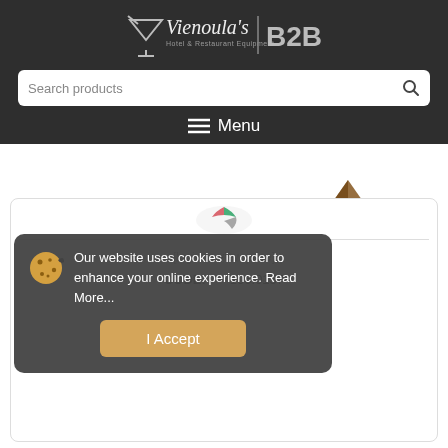[Figure (logo): Vienoula's Hotel & Restaurant Equipment B2B logo with martini glass icon on dark background]
Search products
Menu
[Figure (photo): Partial product image visible at top, appears to be a wooden or brown colored item]
[Figure (photo): Small Italian flag colored circular logo visible inside card]
Our website uses cookies in order to enhance your online experience. Read More...
I Accept
[login to view price]
CODE:      106.0157